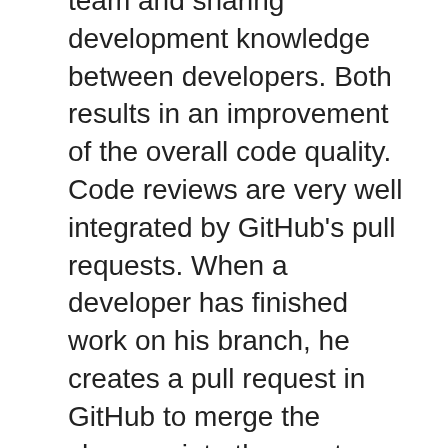team and sharing development knowledge between developers. Both results in an improvement of the overall code quality. Code reviews are very well integrated by GitHub's pull requests. When a developer has finished work on his branch, he creates a pull request in GitHub to merge the changes into the master-branch. Everyone gets notified and at least one other developer looks at the changes, for which GitHub provides a very nice interface, and approves them or comments on them. If there is need for improvement, the creator of the pull request changes the code and commits on his developer branch, which is directly reflected in the pull-request on GitHub and can then be approved by some other developer. If everything is fine, GitHub provides the functionality of merging the developer branch into master with the push of a button. The pull request is then closed and contributes to the